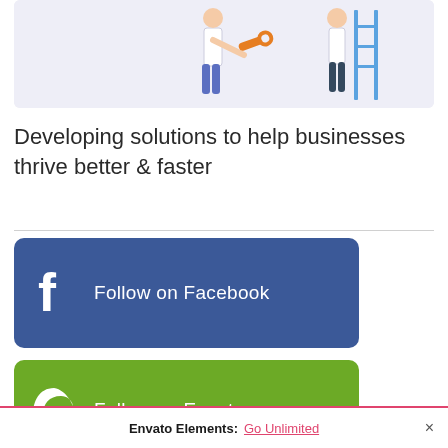[Figure (illustration): Partial illustration showing a maintenance/repair scene with a person holding a wrench and another near a ladder, on a light purple background]
Developing solutions to help businesses thrive better & faster
[Figure (infographic): Blue button: Follow on Facebook with Facebook 'f' logo]
[Figure (infographic): Green button: Follow on Envato with Envato leaf logo]
Envato Elements: Go Unlimited ×